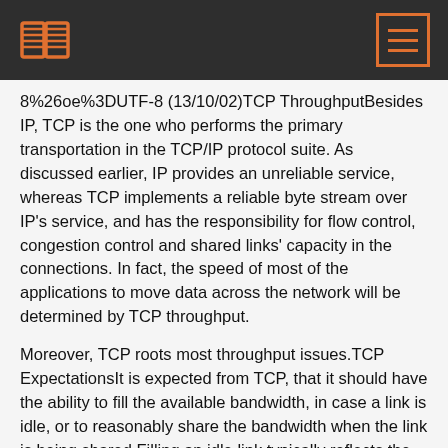8%26oe%3DUTF-8 (13/10/02)TCP ThroughputBesides IP, TCP is the one who performs the primary transportation in the TCP/IP protocol suite. As discussed earlier, IP provides an unreliable service, whereas TCP implements a reliable byte stream over IP's service, and has the responsibility for flow control, congestion control and shared links' capacity in the connections. In fact, the speed of most of the applications to move data across the network will be determined by TCP throughput.
Moreover, TCP roots most throughput issues.TCP ExpectationsIt is expected from TCP, that it should have the ability to fill the available bandwidth, in case a link is idle, or to reasonably share the bandwidth when the link is being shared.Filling an idle link typically reflects the